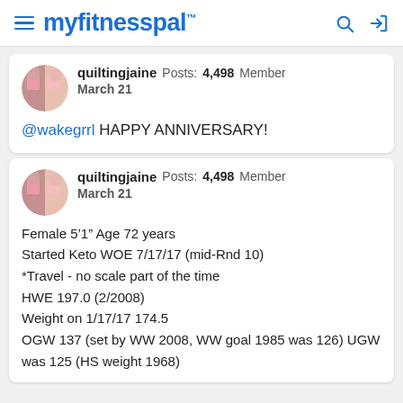myfitnesspal
quiltingjaine Posts: 4,498 Member
March 21
@wakegrrl HAPPY ANNIVERSARY!
quiltingjaine Posts: 4,498 Member
March 21
Female 5’1” Age 72 years
Started Keto WOE 7/17/17 (mid-Rnd 10)
*Travel - no scale part of the time
HWE 197.0 (2/2008)
Weight on 1/17/17 174.5
OGW 137 (set by WW 2008, WW goal 1985 was 126) UGW was 125 (HS weight 1968)